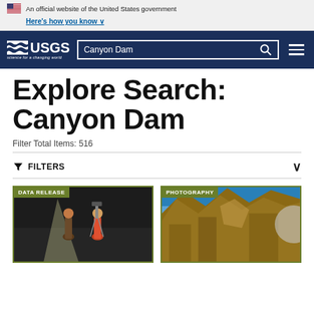An official website of the United States government Here's how you know
[Figure (screenshot): USGS navigation bar with logo, Canyon Dam search box, and hamburger menu on dark navy background]
Explore Search: Canyon Dam
Filter Total Items: 516
FILTERS
[Figure (photo): DATA RELEASE card showing two people using scientific equipment in a dark indoor waterway]
[Figure (photo): PHOTOGRAPHY card showing rocky canyon scenery with blue sky]